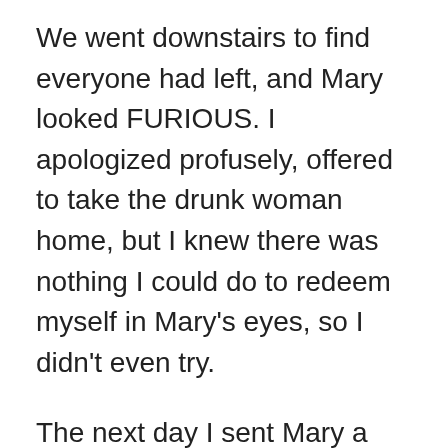We went downstairs to find everyone had left, and Mary looked FURIOUS. I apologized profusely, offered to take the drunk woman home, but I knew there was nothing I could do to redeem myself in Mary's eyes, so I didn't even try.
The next day I sent Mary a Facebook message explaining what had happened, apologizing profusely once again, and offering to take her out to dinner to make it up to her.
She wrote back a scathing email, explaining